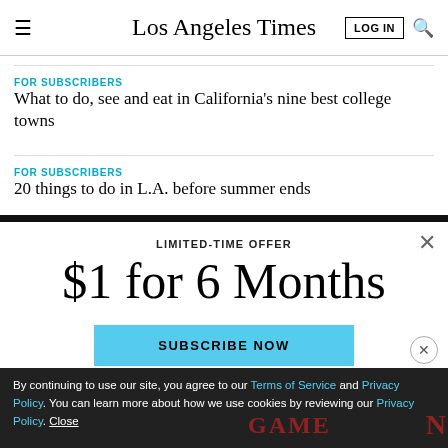Los Angeles Times
FOR SUBSCRIBERS
What to do, see and eat in California’s nine best college towns
FOR SUBSCRIBERS
20 things to do in L.A. before summer ends
LIMITED-TIME OFFER
$1 for 6 Months
SUBSCRIBE NOW
By continuing to use our site, you agree to our Terms of Service and Privacy Policy. You can learn more about how we use cookies by reviewing our Privacy Policy. Close